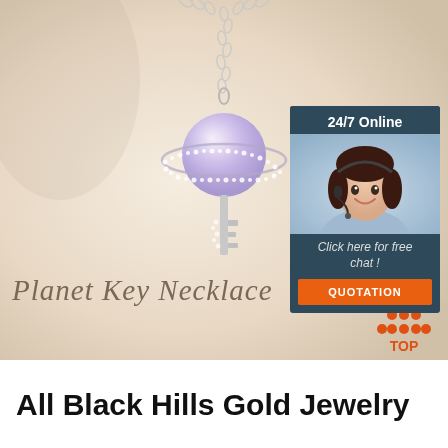[Figure (photo): Silver planet key necklace pendant on beige/cream background — the pendant features a lavender/purple planet sphere with crystal-studded rings and a decorative key shaft below it, hung on a silver chain.]
[Figure (photo): 24/7 online customer service chat widget — dark slate blue background with a smiling female customer service representative wearing a headset, text 'Click here for free chat!' and an orange QUOTATION button.]
Planet Key Necklace
[Figure (logo): Orange TOP badge with upward pointing arrow/triangle shape made of dots above the word TOP in orange letters.]
All Black Hills Gold Jewelry